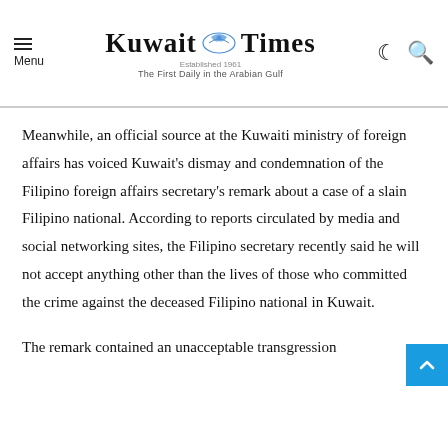Kuwait Times – The First Daily in the Arabian Gulf
Meanwhile, an official source at the Kuwaiti ministry of foreign affairs has voiced Kuwait's dismay and condemnation of the Filipino foreign affairs secretary's remark about a case of a slain Filipino national. According to reports circulated by media and social networking sites, the Filipino secretary recently said he will not accept anything other than the lives of those who committed the crime against the deceased Filipino national in Kuwait.
The remark contained an unacceptable transgression